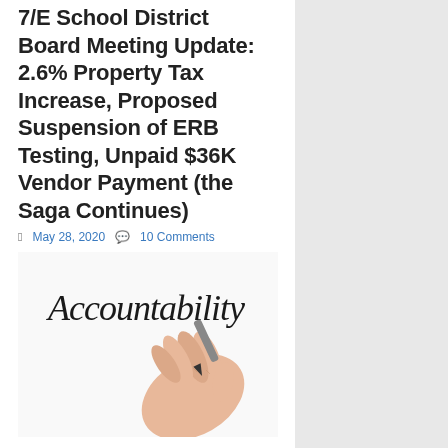7/E School District Board Meeting Update: 2.6% Property Tax Increase, Proposed Suspension of ERB Testing, Unpaid $36K Vendor Payment (the Saga Continues)
May 28, 2020   10 Comments
[Figure (photo): A hand holding a marker and writing the word 'Accountability' in stylized handwriting on a white surface.]
Watching the virtual school board meeting for nearly three hours last night was not for the faint of heart. A few of my takeaways —
With the sole exception of school